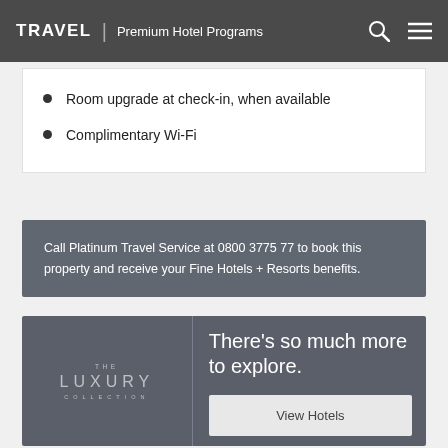TRAVEL | Premium Hotel Programs
Room upgrade at check-in, when available
Complimentary Wi-Fi
Call Platinum Travel Service at 0800 3775 77 to book this property and receive your Fine Hotels + Resorts benefits.
[Figure (logo): The Luxury Collection logo with tagline and promotional text: There’s so much more to explore. View Hotels button.]